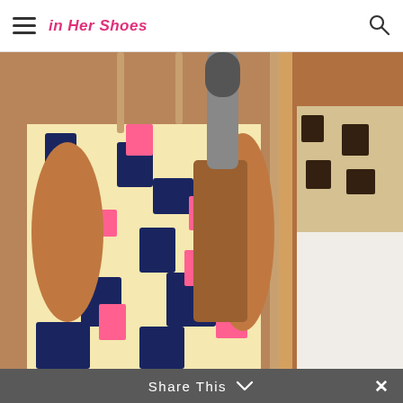In Her Shoes
[Figure (photo): A woman in a colorful floral/tribal print sleeveless dress holding a microphone, with another person in a similar patterned outfit visible to the right, at what appears to be an indoor event.]
Share This